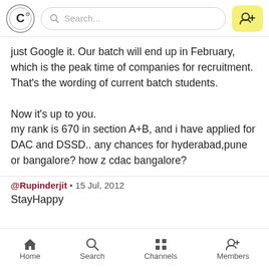Search...
just Google it. Our batch will end up in February, which is the peak time of companies for recruitment. That's the wording of current batch students.

Now it's up to you.
my rank is 670 in section A+B, and i have applied for DAC and DSSD.. any chances for hyderabad,pune or bangalore? how z cdac bangalore?
@Rupinderjit • 15 Jul, 2012
StayHappy